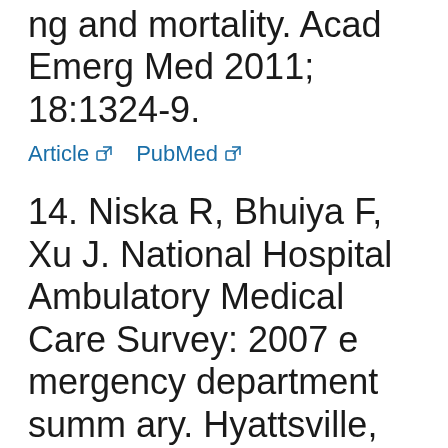ng and mortality. Acad Emerg Med 2011; 18:1324-9.
Article   PubMed
14. Niska R, Bhuiya F, Xu J. National Hospital Ambulatory Medical Care Survey: 2007 emergency department summary. Hyattsville, MD: National Center for Health Statistics; 2010.
15. Blom MG, Janssen F, L...